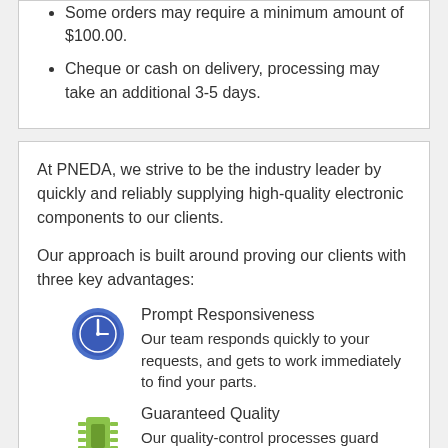Some orders may require a minimum amount of $100.00.
Cheque or cash on delivery, processing may take an additional 3-5 days.
At PNEDA, we strive to be the industry leader by quickly and reliably supplying high-quality electronic components to our clients.
Our approach is built around proving our clients with three key advantages:
[Figure (illustration): Blue circle clock icon representing Prompt Responsiveness]
Prompt Responsiveness
Our team responds quickly to your requests, and gets to work immediately to find your parts.
[Figure (illustration): Green electronic chip icon representing Guaranteed Quality]
Guaranteed Quality
Our quality-control processes guard against counterfeits while ensuring reliability and performance.